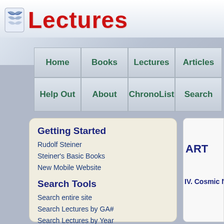Lectures
Home | Books | Lectures | Articles | Help Out | About | ChronoList | Search
Getting Started
Rudolf Steiner
Steiner's Basic Books
New Mobile Website
Search Tools
Search entire site
Search Lectures by GA#
Search Lectures by Year
ART
IV. Cosmic Ne